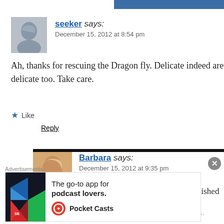seeker says: December 15, 2012 at 8:54 pm
Ah, thanks for rescuing the Dragon fly. Delicate indeed are delicate too. Take care.
Like
Reply
Barbara says: December 15, 2012 at 9:35 pm
Indeed I am! In fact I have just published a category about me, as I feel very delic...
Advertisements
The go-to app for podcast lovers. Pocket Casts